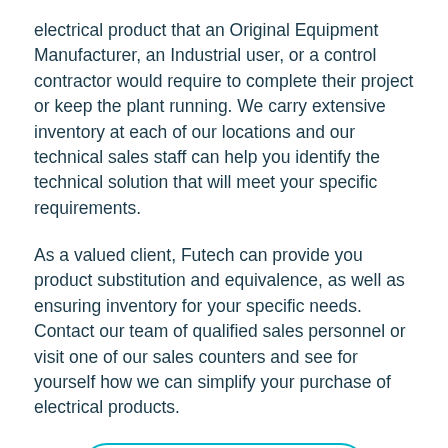electrical product that an Original Equipment Manufacturer, an Industrial user, or a control contractor would require to complete their project or keep the plant running. We carry extensive inventory at each of our locations and our technical sales staff can help you identify the technical solution that will meet your specific requirements.
As a valued client, Futech can provide you product substitution and equivalence, as well as ensuring inventory for your specific needs. Contact our team of qualified sales personnel or visit one of our sales counters and see for yourself how we can simplify your purchase of electrical products.
Member specifications